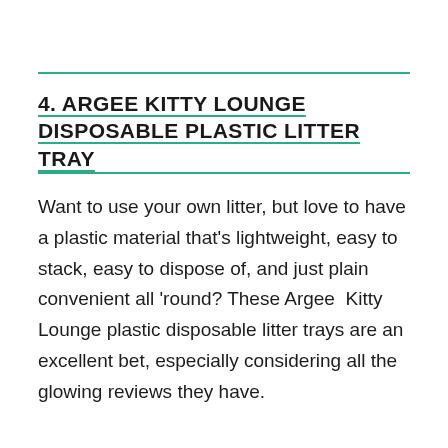4. ARGEE KITTY LOUNGE DISPOSABLE PLASTIC LITTER TRAY
Want to use your own litter, but love to have a plastic material that's lightweight, easy to stack, easy to dispose of, and just plain convenient all 'round? These Argee  Kitty  Lounge plastic disposable litter trays are an excellent bet, especially considering all the glowing reviews they have.